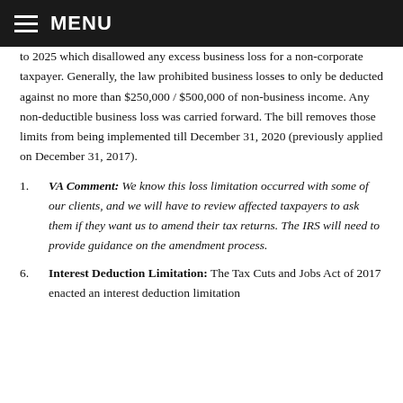MENU
to 2025 which disallowed any excess business loss for a non-corporate taxpayer. Generally, the law prohibited business losses to only be deducted against no more than $250,000 / $500,000 of non-business income. Any non-deductible business loss was carried forward. The bill removes those limits from being implemented till December 31, 2020 (previously applied on December 31, 2017).
VA Comment: We know this loss limitation occurred with some of our clients, and we will have to review affected taxpayers to ask them if they want us to amend their tax returns. The IRS will need to provide guidance on the amendment process.
Interest Deduction Limitation: The Tax Cuts and Jobs Act of 2017 enacted an interest deduction limitation